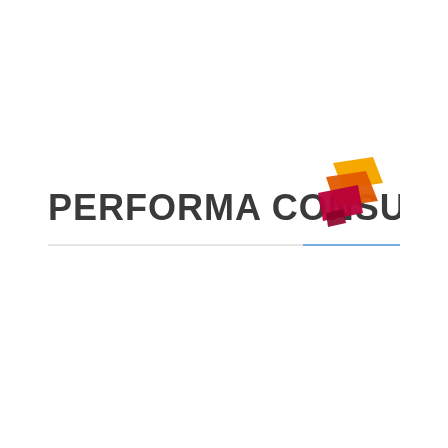[Figure (logo): Performa Consulting logo: bold dark gray uppercase text 'PERFORMA CONSULTING' with a stylized angular graphic mark to the right consisting of overlapping parallelogram shapes in crimson/red, orange, and gold/yellow colors. Below the logo text is a horizontal divider line that is light gray on the left and blue on the right.]